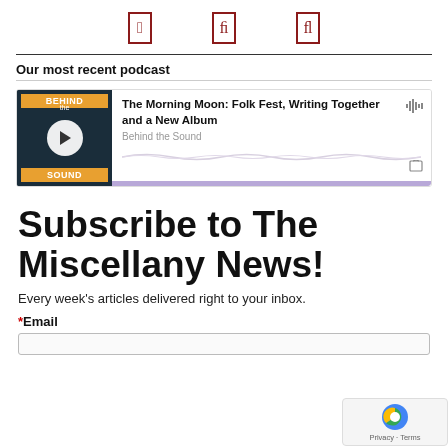[Figure (other): Three icon boxes with dark red outlines arranged in a row at the top of the page]
Our most recent podcast
[Figure (other): Podcast card with Behind the Sound thumbnail showing a play button, podcast title 'The Morning Moon: Folk Fest, Writing Together and a New Album', show name 'Behind the Sound', waveform graphic, share icon, and purple progress bar]
Subscribe to The Miscellany News!
Every week's articles delivered right to your inbox.
*Email